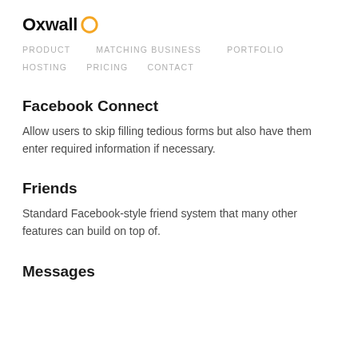Oxwall
PRODUCT   MATCHING BUSINESS   PORTFOLIO   HOSTING   PRICING   CONTACT
Facebook Connect
Allow users to skip filling tedious forms but also have them enter required information if necessary.
Friends
Standard Facebook-style friend system that many other features can build on top of.
Messages